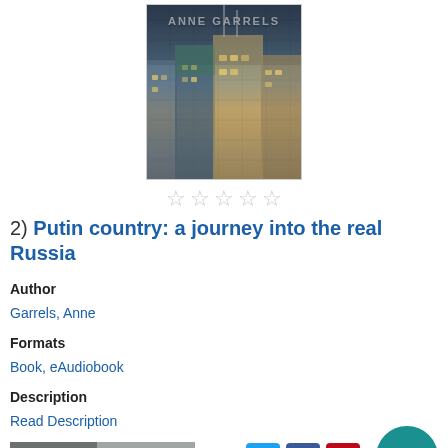[Figure (photo): Book cover of Putin Country by Anne Garrels, showing Russian apartment buildings/cityscape with author name text overlay]
★★★★★ (5 empty stars rating)
2) Putin country: a journey into the real Russia
Author
Garrels, Anne
Formats
Book, eAudiobook
Description
Read Description
More Info | Add to list | [social share icons: email, twitter, facebook, pinterest]
Looking for an older book we